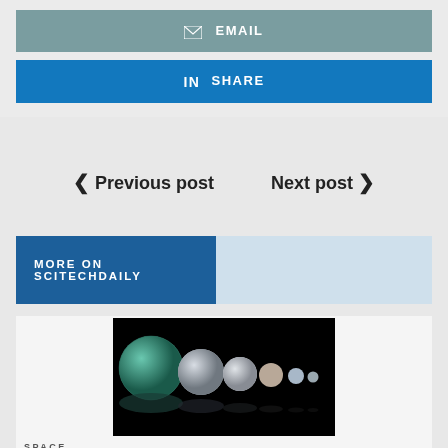[Figure (infographic): Email button with envelope icon, gray-teal background]
[Figure (infographic): LinkedIn Share button with 'in' icon, blue background]
< Previous post   Next post >
MORE ON SCITECHDAILY
[Figure (photo): Artistic illustration of multiple exoplanets of decreasing size arranged in a row on a black background, with reflections below]
SPACE
Kepler Mission Discovers Two New